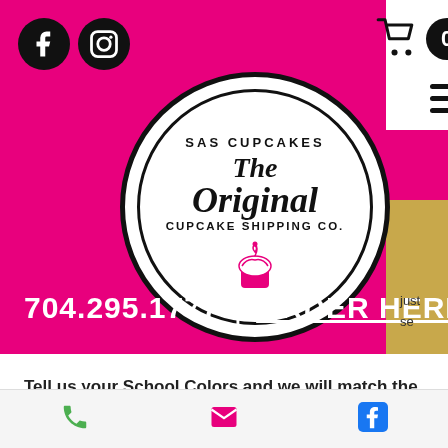[Figure (screenshot): Website screenshot of SAS Cupcakes - The Original Cupcake Shipping Co. Pink background header with Facebook and Instagram social icons, cart icon with badge showing 0, hamburger menu, circular logo with cupcake illustration, phone number 704.295.1777 and ORDER HERE! link, followed by body text about school colors and graduation caps and sprinkles, and bottom navigation bar with phone, email, and Facebook icons.]
704.295.1777  |  ORDER HERE!
Tell us your School Colors and we will match the assortment with fun Graduation Caps and Sprinkles!